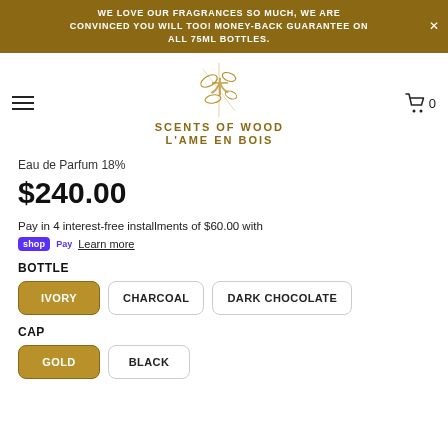WE LOVE OUR FRAGRANCES SO MUCH, WE ARE CONVINCED YOU WILL TOO! MONEY-BACK GUARANTEE ON ALL 75ML BOTTLES.
[Figure (logo): Scents of Wood / L'AME EN BOIS logo with gold plant/calligraphy motif]
Eau de Parfum 18%
$240.00
Pay in 4 interest-free installments of $60.00 with shop Pay Learn more
BOTTLE
IVORY
CHARCOAL
DARK CHOCOLATE
CAP
GOLD
BLACK